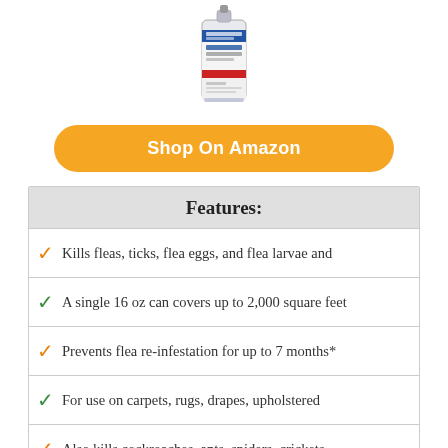[Figure (illustration): Product image of a carpet spray can/bottle]
Shop On Amazon
| Features: |
| --- |
| ✓ Kills fleas, ticks, flea eggs, and flea larvae and |
| ✓ A single 16 oz can covers up to 2,000 square feet |
| ✓ Prevents flea re-infestation for up to 7 months* |
| ✓ For use on carpets, rugs, drapes, upholstered |
| ✓ Also kills cockroaches, ants, spiders, crickets, |
| ✓ 5% of fleas live on your pet while the remaining |
6. SENTRYHOME HOME & CARPET FLEA & TICK SPRAY (24 OZ)